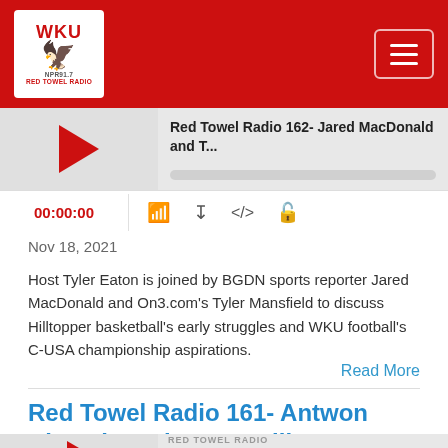WKU Red Towel Radio — navigation header with logo and hamburger menu
[Figure (screenshot): Podcast player widget showing episode 'Red Towel Radio 162- Jared MacDonald and T...' with play button, progress bar, time 00:00:00, and control icons]
Nov 18, 2021
Host Tyler Eaton is joined by BGDN sports reporter Jared MacDonald and On3.com's Tyler Mansfield to discuss Hilltopper basketball's early struggles and WKU football's C-USA championship aspirations.
Read More
Red Towel Radio 161- Antwon Kincade and Greg Collins
[Figure (screenshot): Podcast player widget for 'Red Towel Radio 161- Antwon Kincade and Gr...' with RED TOWEL RADIO label and play button]